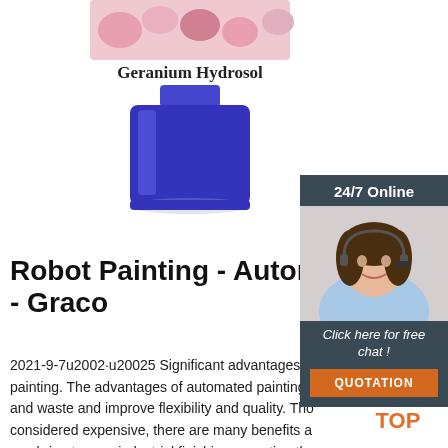[Figure (photo): Blue bottle of Geranium Hydrosol product, partially visible at top of page with label text 'Geranium Hydrosol']
[Figure (photo): Customer service agent widget showing woman with headset smiling, with '24/7 Online' header bar, 'Click here for free chat!' text, and orange QUOTATION button on dark background]
Robot Painting - Automatic P - Graco
2021-9-7u2002·u20025 Significant advantages of painting. The advantages of automated painting: and waste and improve flexibility and quality. Though considered expensive, there are many benefits a can bring to your industrial finishing operation tha the costs by far. Specifically for the paint automation processes, the ...
[Figure (other): Green 'Get Price' button]
[Figure (logo): Orange 'TOP' logo with dots above it arranged in triangle shape]